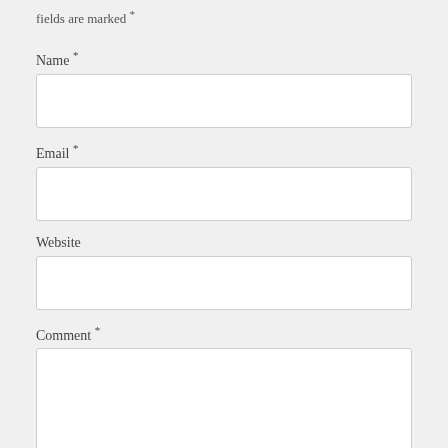fields are marked *
Name *
Email *
Website
Comment *